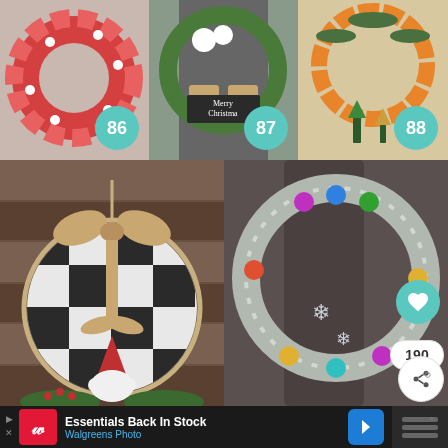[Figure (photo): Red ribbon/mesh Christmas wreath with white ornaments, numbered badge 86]
[Figure (photo): Traditional green Christmas wreath on door with Merry Christmas chalkboard sign, burlap ribbon, numbered badge 87]
[Figure (photo): Dried orange slice wreath on beige background with small bottle brush trees below, numbered badge 88]
[Figure (photo): Embroidery hoop wreath with buffalo check plaid, burlap bow, and gnome, wood plank background]
[Figure (photo): Silver tinsel wreath decorated with colorful ornaments and snowflake decorations, heart/share badges, count 190]
[Figure (screenshot): Advertisement banner: Walgreens Photo - Essentials Back In Stock]